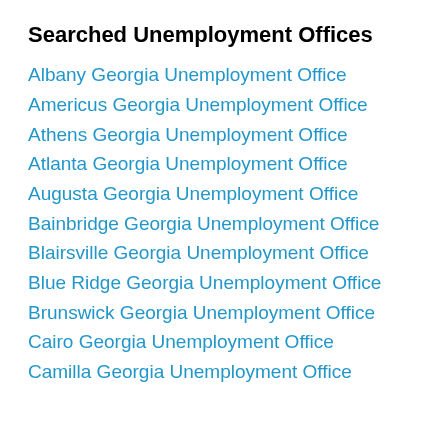Searched Unemployment Offices
Albany Georgia Unemployment Office
Americus Georgia Unemployment Office
Athens Georgia Unemployment Office
Atlanta Georgia Unemployment Office
Augusta Georgia Unemployment Office
Bainbridge Georgia Unemployment Office
Blairsville Georgia Unemployment Office
Blue Ridge Georgia Unemployment Office
Brunswick Georgia Unemployment Office
Cairo Georgia Unemployment Office
Camilla Georgia Unemployment Office